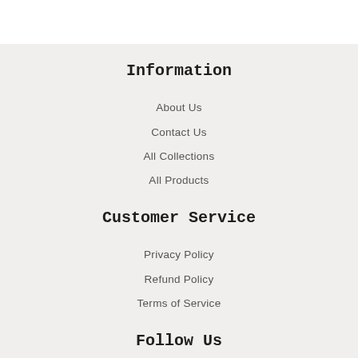Information
About Us
Contact Us
All Collections
All Products
Customer Service
Privacy Policy
Refund Policy
Terms of Service
Follow Us